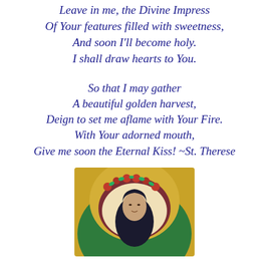Leave in me, the Divine Impress
Of Your features filled with sweetness,
And soon I'll become holy.
I shall draw hearts to You.
So that I may gather
A beautiful golden harvest,
Deign to set me aflame with Your Fire.
With Your adorned mouth,
Give me soon the Eternal Kiss! ~St. Therese
[Figure (photo): Partial view of a religious icon depicting a saint (St. Therese) with a halo decorated with red roses on a green and gold background, partially cropped at the bottom of the page.]